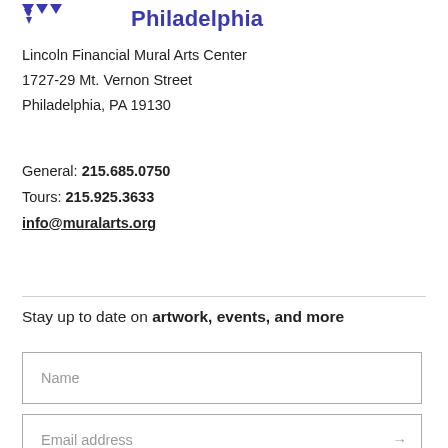Philadelphia
Lincoln Financial Mural Arts Center
1727-29 Mt. Vernon Street
Philadelphia, PA 19130
General: 215.685.0750
Tours: 215.925.3633
info@muralarts.org
Stay up to date on artwork, events, and more
Name
Email address